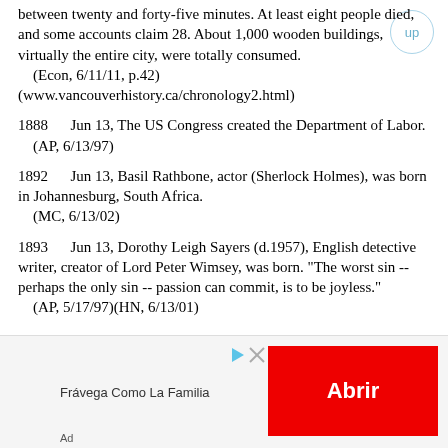between twenty and forty-five minutes. At least eight people died, and some accounts claim 28. About 1,000 wooden buildings, virtually the entire city, were totally consumed.
    (Econ, 6/11/11, p.42)
(www.vancouverhistory.ca/chronology2.html)
1888      Jun 13, The US Congress created the Department of Labor.
    (AP, 6/13/97)
1892      Jun 13, Basil Rathbone, actor (Sherlock Holmes), was born in Johannesburg, South Africa.
    (MC, 6/13/02)
1893      Jun 13, Dorothy Leigh Sayers (d.1957), English detective writer, creator of Lord Peter Wimsey, was born. "The worst sin -- perhaps the only sin -- passion can commit, is to be joyless."
    (AP, 5/17/97)(HN, 6/13/01)
[Figure (infographic): Advertisement banner: Frávega Como La Familia with red Abrir button and ad icons]